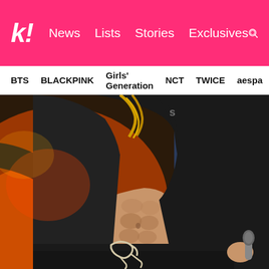k! News Lists Stories Exclusives
BTS  BLACKPINK  Girls' Generation  NCT  TWICE  aespa
[Figure (photo): K-pop male performer on stage wearing a black open jacket revealing toned abs, black pants with cream drawstring, holding a microphone, performing on stage with colorful background lighting]